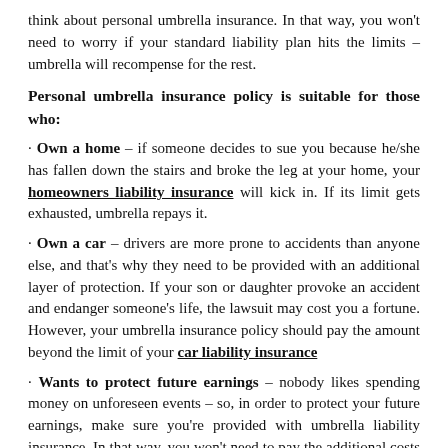think about personal umbrella insurance. In that way, you won't need to worry if your standard liability plan hits the limits – umbrella will recompense for the rest.
Personal umbrella insurance policy is suitable for those who:
· Own a home – if someone decides to sue you because he/she has fallen down the stairs and broke the leg at your home, your homeowners liability insurance will kick in. If its limit gets exhausted, umbrella repays it.
· Own a car – drivers are more prone to accidents than anyone else, and that's why they need to be provided with an additional layer of protection. If your son or daughter provoke an accident and endanger someone's life, the lawsuit may cost you a fortune. However, your umbrella insurance policy should pay the amount beyond the limit of your car liability insurance
· Wants to protect future earnings – nobody likes spending money on unforeseen events – so, in order to protect your future earnings, make sure you're provided with umbrella liability insurance. In that way, you won't need to pay the additional costs by yourself, when your liability